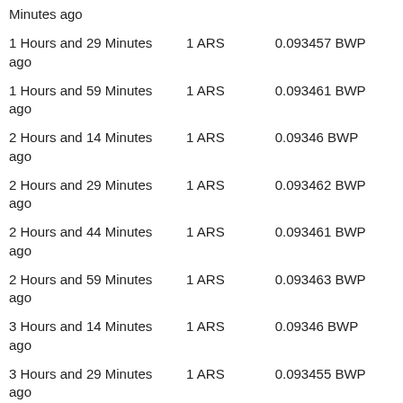| Time | Amount | Rate |
| --- | --- | --- |
| Minutes ago |  |  |
| 1 Hours and 29 Minutes ago | 1 ARS | 0.093457 BWP |
| 1 Hours and 59 Minutes ago | 1 ARS | 0.093461 BWP |
| 2 Hours and 14 Minutes ago | 1 ARS | 0.09346 BWP |
| 2 Hours and 29 Minutes ago | 1 ARS | 0.093462 BWP |
| 2 Hours and 44 Minutes ago | 1 ARS | 0.093461 BWP |
| 2 Hours and 59 Minutes ago | 1 ARS | 0.093463 BWP |
| 3 Hours and 14 Minutes ago | 1 ARS | 0.09346 BWP |
| 3 Hours and 29 Minutes ago | 1 ARS | 0.093455 BWP |
| 3 Hours and 44 Minutes ago | 1 ARS | 0.093459 BWP |
| 3 Hours and 59 Minutes ago | 1 ARS | 0.093456 BWP |